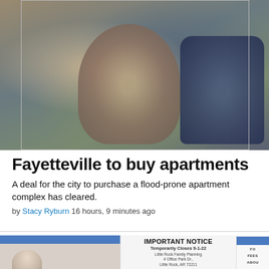[Figure (photo): Two people sitting outdoors among belongings and debris, one leaning toward the other in conversation. Background shows trees and cluttered outdoor area.]
Fayetteville to buy apartments
A deal for the city to purchase a flood-prone apartment complex has cleared.
by Stacy Ryburn 16 hours, 9 minutes ago
[Figure (screenshot): Screenshot showing an Important Notice from Little Rock Family Planning stating it temporarily closes 9-1-22, located at 4 Office Park Dr., Little Rock, AR 72211. It states it has been an honor and privilege to have been your health care provider, some of you for many years. We are grateful for the opportunity to have served your medical needs. If you need abortion services please go to...]